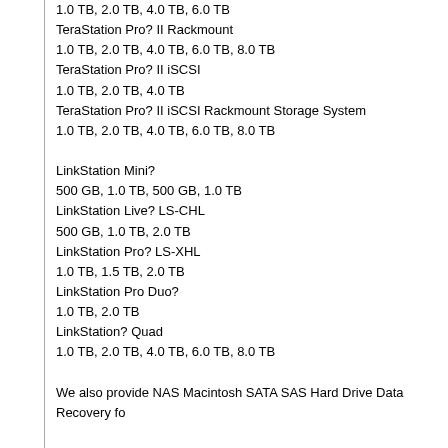1.0 TB, 2.0 TB, 4.0 TB, 6.0 TB
TeraStation Pro? II Rackmount
1.0 TB, 2.0 TB, 4.0 TB, 6.0 TB, 8.0 TB
TeraStation Pro? II iSCSI
1.0 TB, 2.0 TB, 4.0 TB
TeraStation Pro? II iSCSI Rackmount Storage System
1.0 TB, 2.0 TB, 4.0 TB, 6.0 TB, 8.0 TB
LinkStation Mini?
500 GB, 1.0 TB, 500 GB, 1.0 TB
LinkStation Live? LS-CHL
500 GB, 1.0 TB, 2.0 TB
LinkStation Pro? LS-XHL
1.0 TB, 1.5 TB, 2.0 TB
LinkStation Pro Duo?
1.0 TB, 2.0 TB
LinkStation? Quad
1.0 TB, 2.0 TB, 4.0 TB, 6.0 TB, 8.0 TB
We also provide NAS Macintosh SATA SAS Hard Drive Data Recovery fo
Dell NX4 Enterprise-class Network Attached Storage
Dell NX4 Enterprise-class Network Attached Storage
Dell PowerVault NX3000
PowerVault NX1950 SAN Gateway
PowerVault NX1950 Integrated NAS Solution
Dell PowerVault NF600 Network Attached Storage
Dell PowerVault NF500 Network Attached Storage
Dell PowerVault NF100 Network Attached Storage We also provide NAS
Seagate FreeAgent GoFlex Net STAK100, Seagate BlackArmor Network
Media Sharing Device FreeAgent DockStar